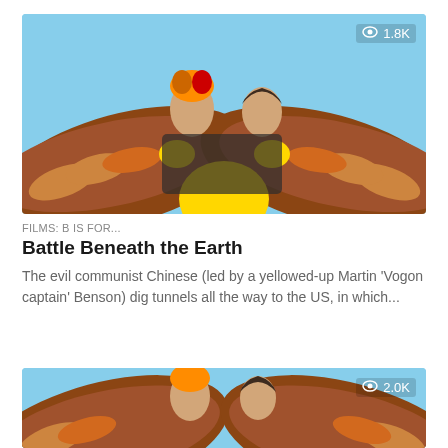[Figure (photo): Movie still showing two people riding a large mechanical eagle/bird with brown feathered wings and yellow details against a blue sky backdrop]
FILMS: B IS FOR...
Battle Beneath the Earth
The evil communist Chinese (led by a yellowed-up Martin 'Vogon captain' Benson) dig tunnels all the way to the US, in which...
[Figure (photo): Same movie still repeated, showing two people riding a large mechanical eagle/bird with brown feathered wings and yellow details against a blue sky backdrop]